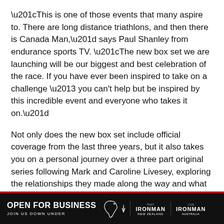“This is one of those events that many aspire to. There are long distance triathlons, and then there is Canada Man,” says Paul Shanley from endurance sports TV. “The new box set we are launching will be our biggest and best celebration of the race. If you have ever been inspired to take on a challenge – you can’t help but be inspired by this incredible event and everyone who takes it on.”
Not only does the new box set include official coverage from the last three years, but it also takes you on a personal journey over a three part original series following Mark and Caroline Livesey, exploring the relationships they made along the way and what drives them to compete in one of the world’s toughest events.
[Figure (other): Advertisement banner: black background with 'OPEN FOR BUSINESS / JOIN US DOWN UNDER' text, Australia map outline, and two IRONMAN logos (New Zealand and Australia)]